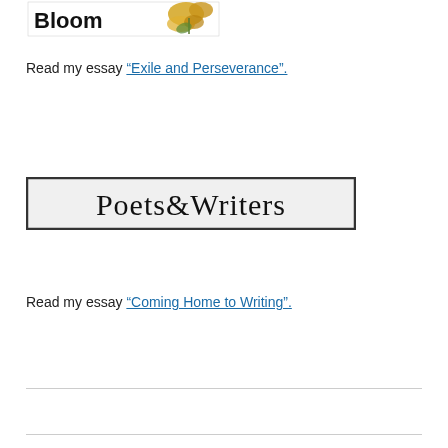[Figure (logo): Bloom magazine logo with butterfly illustration and bold 'Bloom' text]
Read my essay "Exile and Perseverance".
[Figure (logo): Poets & Writers logo in a bordered rectangle with serif font]
Read my essay "Coming Home to Writing".